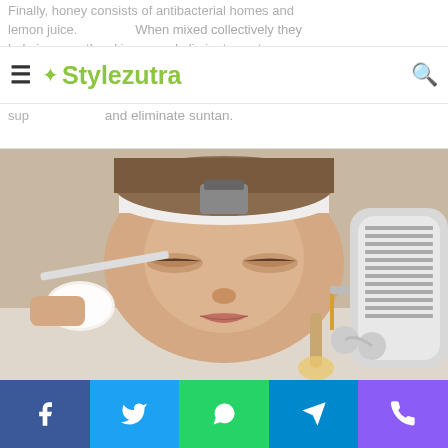Finally, honey consists of antibacterial homes and lemon juice. When mixed collectively they help improve the skin and eliminate suntan.
Stylezutra
[Figure (photo): A woman lying down receiving facial beauty treatment with a brush applying white powder/cream to her face, a handheld device near her forehead, and beauty tools nearby including a brush and rollers.]
Turmeric and uncooked milk –
A mixture of raw milk and turmeric cleansed off the cussed suntan. Turmeric has anti-inflammatory qualities
Social share buttons: Facebook, Twitter, WhatsApp, Telegram, Phone